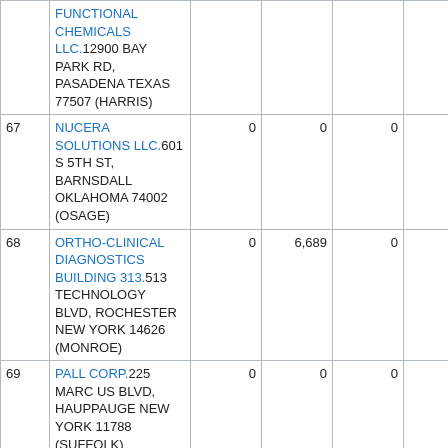| # | Facility | Col3 | Col4 | Col5 | Col6 | Col7 |
| --- | --- | --- | --- | --- | --- | --- |
|  | FUNCTIONAL CHEMICALS LLC.12900 BAY PARK RD, PASADENA TEXAS 77507 (HARRIS) |  |  |  |  |  |
| 67 | NUCERA SOLUTIONS LLC.601 S 5TH ST, BARNSDALL OKLAHOMA 74002 (OSAGE) | 0 | 0 | 0 | 0 |  |
| 68 | ORTHO-CLINICAL DIAGNOSTICS BUILDING 313.513 TECHNOLOGY BLVD, ROCHESTER NEW YORK 14626 (MONROE) | 0 | 6,689 | 0 | 0 |  |
| 69 | PALL CORP.225 MARCUS BLVD, HAUPPAUGE NEW YORK 11788 (SUFFOLK) | 0 | 0 | 0 | 0 | 3 |
| 70 | PALL CORP PALL TRINITY MICRO DIV.3643 NYS RTE 281, CORTLANDVILLE NEW... | 0 | 0 | 0 | 2,834 |  |